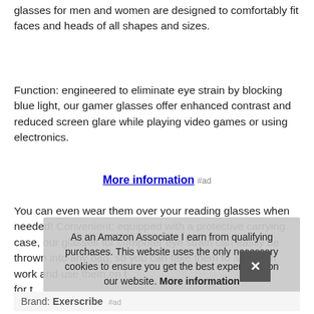glasses for men and women are designed to comfortably fit faces and heads of all shapes and sizes.
Function: engineered to eliminate eye strain by blocking blue light, our gamer glasses offer enhanced contrast and reduced screen glare while playing video games or using electronics.
More information #ad
You can even wear them over your reading glasses when needed! Convenient: equipped with a protective carrying case, our glasses for computer eye strain can easily be thrown into any bag, so you can take them to and from work and use them on t… for t… mak…
As an Amazon Associate I earn from qualifying purchases. This website uses the only necessary cookies to ensure you get the best experience on our website. More information
Brand: Exerscribe #ad